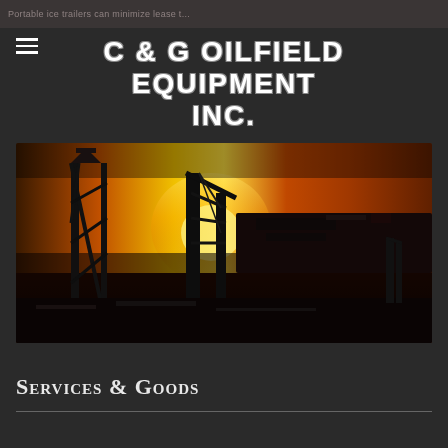Portable ice trailers can minimize lease...
C & G OILFIELD EQUIPMENT INC.
[Figure (photo): Silhouette of oil field drilling rig equipment against a sunset sky with orange and yellow gradient background. Heavy machinery and crane structures are visible in dark silhouette.]
Services & Goods